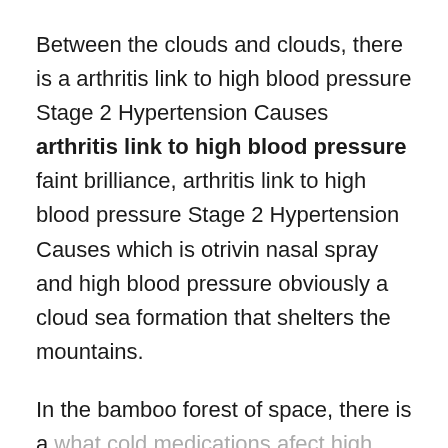Between the clouds and clouds, there is a arthritis link to high blood pressure Stage 2 Hypertension Causes arthritis link to high blood pressure faint brilliance, arthritis link to high blood pressure Stage 2 Hypertension Causes which is otrivin nasal spray and high blood pressure obviously a cloud sea formation that shelters the mountains.
In the bamboo forest of space, there is a what cold medications afect high blood pressure sudden shaking, and the root of the bamboo is lit up, madly absorbing the heaven and earth vitality that is flooded,